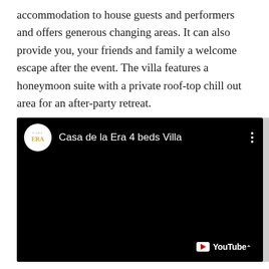accommodation to house guests and performers and offers generous changing areas. It can also provide you, your friends and family a welcome escape after the event. The villa features a honeymoon suite with a private roof-top chill out area for an after-party retreat.
[Figure (screenshot): Embedded YouTube video player showing 'Casa de la Era 4 beds Villa' with a circular logo featuring the text CASA ERA on a white background. The video content area is black. A YouTube watermark badge is visible in the bottom right corner.]